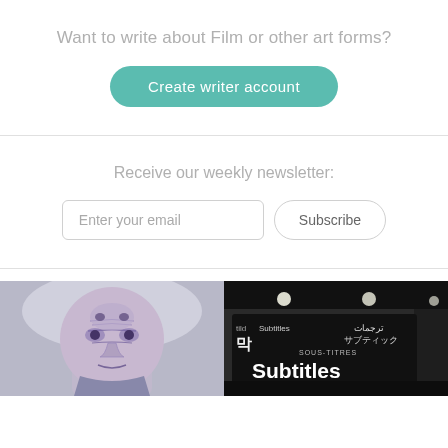Want to write about Film or other art forms?
[Figure (other): Teal rounded button labeled 'Create writer account']
Receive our weekly newsletter:
[Figure (other): Email input box with placeholder 'Enter your email' and a 'Subscribe' rounded button]
[Figure (illustration): Left: Stylized illustrated portrait of a man with a face within a face, purple/grey tones. Right: Black and white photo of a sign with the word 'Subtitles' in multiple languages including Japanese, Arabic, Korean, and French.]